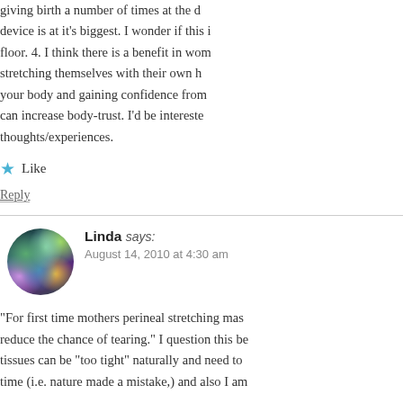giving birth a number of times at the device is at it's biggest. I wonder if this is floor. 4. I think there is a benefit in wome stretching themselves with their own ha your body and gaining confidence from b can increase body-trust. I'd be intereste thoughts/experiences.
Like
Reply
Linda says:
August 14, 2010 at 4:30 am
“For first time mothers perineal stretching mas reduce the chance of tearing.” I question this be tissues can be “too tight” naturally and need to time (i.e. nature made a mistake,) and also I am